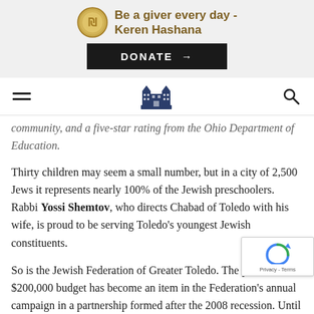[Figure (infographic): Keren Hashana donation banner with gold coin icon and bold text 'Be a giver every day - Keren Hashana']
[Figure (other): DONATE button with arrow on black background]
[Figure (other): Navigation bar with hamburger menu, building logo, and search icon]
community, and a five-star rating from the Ohio Department of Education.
Thirty children may seem a small number, but in a city of 2,500 Jews it represents nearly 100% of the Jewish preschoolers. Rabbi Yossi Shemtov, who directs Chabad of Toledo with his wife, is proud to be serving Toledo's youngest Jewish constituents.
So is the Jewish Federation of Greater Toledo. The preschool's $200,000 budget has become an item in the Federation's annual campaign in a partnership formed after the 2008 recession. Until then, Chabad covered its own budget, but as funding dried up and